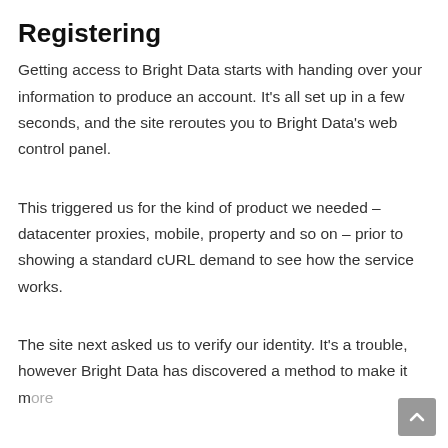Registering
Getting access to Bright Data starts with handing over your information to produce an account. It’s all set up in a few seconds, and the site reroutes you to Bright Data’s web control panel.
This triggered us for the kind of product we needed – datacenter proxies, mobile, property and so on – prior to showing a standard cURL demand to see how the service works.
The site next asked us to verify our identity. It’s a trouble, however Bright Data has discovered a method to make it more